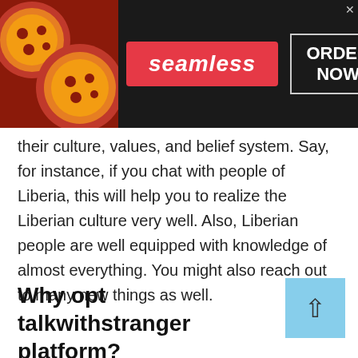[Figure (other): Seamless food delivery advertisement banner with pizza image on the left, Seamless logo in red center, and ORDER NOW button in white bordered box on dark background]
their culture, values, and belief system. Say, for instance, if you chat with people of Liberia, this will help you to realize the Liberian culture very well. Also, Liberian people are well equipped with knowledge of almost everything. You might also reach out to many new things as well.
Why opt talkwithstranger platform?
[Figure (other): Groupon Official Site advertisement with thumbnail image, title 'Groupon Official Site | Online Shopping Deals', description 'Discover & Save with Over 300k of the Best Deals', URL www.groupon.com, close button and navigation arrow]